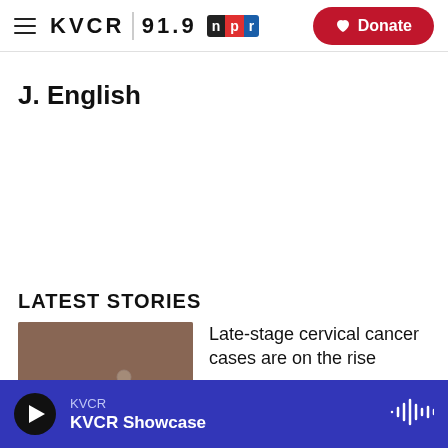KVCR 91.9 npr | Donate
J. English
LATEST STORIES
[Figure (photo): Medical items on a table including vials, syringes, and swabs]
Late-stage cervical cancer cases are on the rise
2 hours ago
KVCR | KVCR Showcase